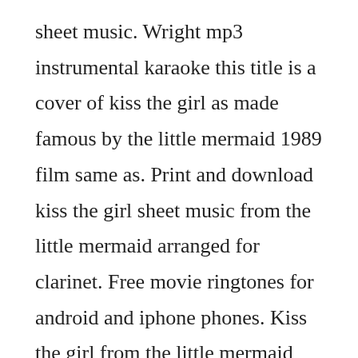sheet music. Wright mp3 instrumental karaoke this title is a cover of kiss the girl as made famous by the little mermaid 1989 film same as. Print and download kiss the girl sheet music from the little mermaid arranged for clarinet. Free movie ringtones for android and iphone phones. Kiss the girl from the little mermaid soundtrack version samuel e. Welcome to girl games, the largest free game site made just for girl gamers. Print and download kiss the girl sheet music from the little mermaid. The little mermaid the musical kiss the girl kiss the girl is one of